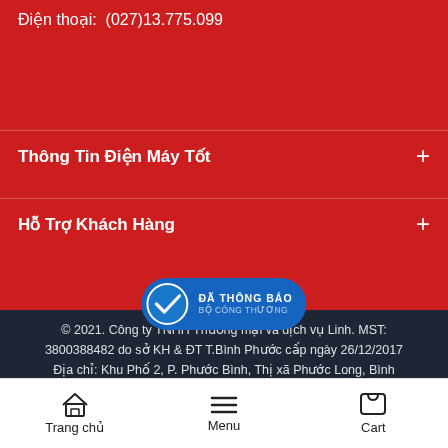Điện thoại:  (027)13.775.099
Thông Tin Điện Máy Tốt
Hỗ Trợ Khách Hàng
© 2021. Công ty TNHH Thương mại và dịch vụ Linh. MST: 3800388482 do sở KH & ĐT T.Bình Phước cấp ngày 26/12/2017 Địa chỉ: Khu Phố 2, P. Phước Bình, Thị xã Phước Long, Bình Phước. Điện thoại: (027)13.775.099
[Figure (logo): Đã thông báo Bộ Công Thương badge with checkmark]
Trang chủ | Menu | Cart